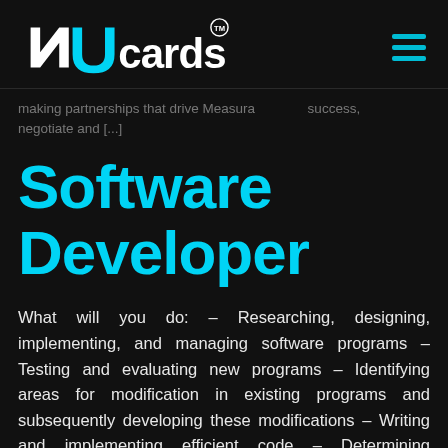NUcards™
making partnerships that drive Measura... success, negotiate and [...]
Software Developer
What will you do: – Researching, designing, implementing, and managing software programs – Testing and evaluating new programs – Identifying areas for modification in existing programs and subsequently developing these modifications – Writing and implementing efficient code – Determining operational practicality – Developing quality assurance procedures – Deploying software tools,